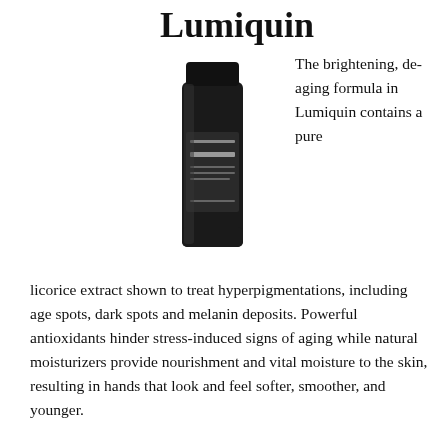Lumiquin
[Figure (photo): A dark/black tube of Lumiquin skincare product standing upright, with small white text on the label.]
The brightening, de-aging formula in Lumiquin contains a pure licorice extract shown to treat hyperpigmentations, including age spots, dark spots and melanin deposits. Powerful antioxidants hinder stress-induced signs of aging while natural moisturizers provide nourishment and vital moisture to the skin, resulting in hands that look and feel softer, smoother, and younger.